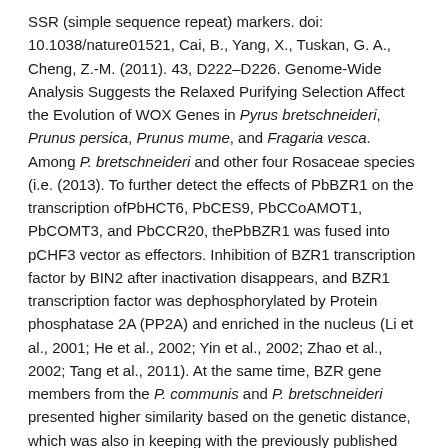SSR (simple sequence repeat) markers. doi: 10.1038/nature01521, Cai, B., Yang, X., Tuskan, G. A., Cheng, Z.-M. (2011). 43, D222–D226. Genome-Wide Analysis Suggests the Relaxed Purifying Selection Affect the Evolution of WOX Genes in Pyrus bretschneideri, Prunus persica, Prunus mume, and Fragaria vesca. Among P. bretschneideri and other four Rosaceae species (i.e. (2013). To further detect the effects of PbBZR1 on the transcription ofPbHCT6, PbCES9, PbCCoAMOT1, PbCOMT3, and PbCCR20, thePbBZR1 was fused into pCHF3 vector as effectors. Inhibition of BZR1 transcription factor by BIN2 after inactivation disappears, and BZR1 transcription factor was dephosphorylated by Protein phosphatase 2A (PP2A) and enriched in the nucleus (Li et al., 2001; He et al., 2002; Yin et al., 2002; Zhao et al., 2002; Tang et al., 2011). At the same time, BZR gene members from the P. communis and P. bretschneideri presented higher similarity based on the genetic distance, which was also in keeping with the previously published manuscripts that the closer relationship between P. bretschneideri and P. communis, versus P. bretschneideri and F. vesca/P. Values are presented as mean ± SE of three biological replicates. K voprosu klassifikatsii roda